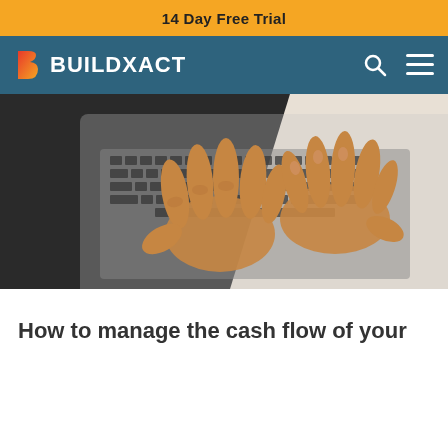14 Day Free Trial
BUILDXACT
[Figure (photo): Hands typing on a laptop keyboard, viewed from above at an angle. The laptop sits on a light surface with dark background on the left side.]
How to manage the cash flow of your